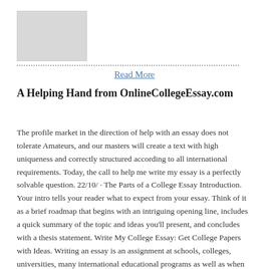[Figure (other): Thumbnail image placeholder (gray rectangle) in upper left of page]
Read More
A Helping Hand from OnlineCollegeEssay.com
The profile market in the direction of help with an essay does not tolerate Amateurs, and our masters will create a text with high uniqueness and correctly structured according to all international requirements. Today, the call to help me write my essay is a perfectly solvable question. 22/10/ · The Parts of a College Essay Introduction. Your intro tells your reader what to expect from your essay. Think of it as a brief roadmap that begins with an intriguing opening line, includes a quick summary of the topic and ideas you'll present, and concludes with a thesis statement. Write My College Essay: Get College Papers with Ideas. Writing an essay is an assignment at schools, colleges, universities, many international educational programs as well as when you apply for a job. For some, academic papers in English are very easy to write.